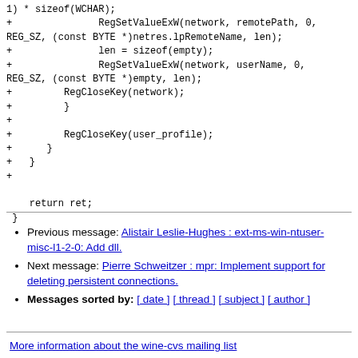1) * sizeof(WCHAR);
+               RegSetValueExW(network, remotePath, 0, REG_SZ, (const BYTE *)netres.lpRemoteName, len);
+               len = sizeof(empty);
+               RegSetValueExW(network, userName, 0, REG_SZ, (const BYTE *)empty, len);
+         RegCloseKey(network);
+         }
+
+         RegCloseKey(user_profile);
+      }
+   }
+
    return ret;
 }
Previous message: Alistair Leslie-Hughes : ext-ms-win-ntuser-misc-l1-2-0: Add dll.
Next message: Pierre Schweitzer : mpr: Implement support for deleting persistent connections.
Messages sorted by: [ date ] [ thread ] [ subject ] [ author ]
More information about the wine-cvs mailing list